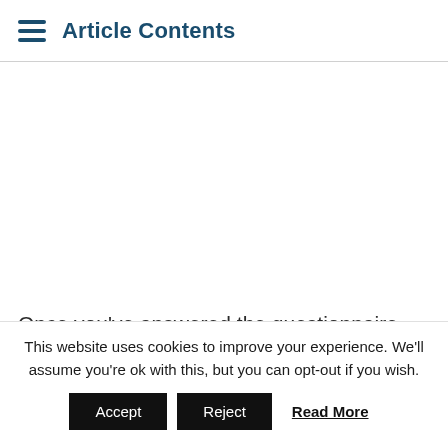Article Contents
Once you've answered the questionnaire you will
This website uses cookies to improve your experience. We'll assume you're ok with this, but you can opt-out if you wish. Accept Reject Read More